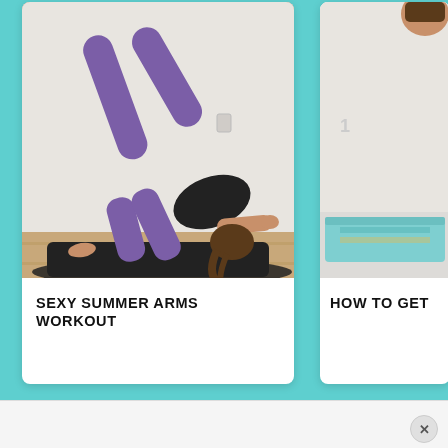[Figure (photo): Woman in black top and purple leggings doing a workout pose on a black yoga mat on wood floor]
SEXY SUMMER ARMS WORKOUT
[Figure (photo): Partial view of workout scene, colorful mat on floor visible]
HOW TO GET